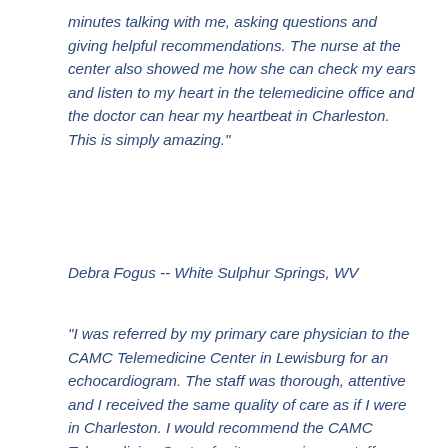minutes talking with me, asking questions and giving helpful recommendations. The nurse at the center also showed me how she can check my ears and listen to my heart in the telemedicine office and the doctor can hear my heartbeat in Charleston. This is simply amazing."
Debra Fogus -- White Sulphur Springs, WV
"I was referred by my primary care physician to the CAMC Telemedicine Center in Lewisburg for an echocardiogram. The staff was thorough, attentive and I received the same quality of care as if I were in Charleston. I would recommend the CAMC Telemedicine Center for its convenience, staff professionalism and care."